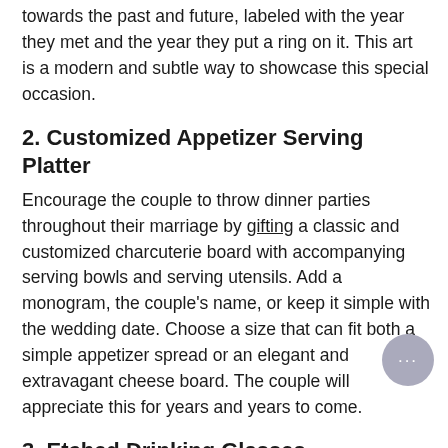towards the past and future, labeled with the year they met and the year they put a ring on it. This art is a modern and subtle way to showcase this special occasion.
2. Customized Appetizer Serving Platter
Encourage the couple to throw dinner parties throughout their marriage by gifting a classic and customized charcuterie board with accompanying serving bowls and serving utensils. Add a monogram, the couple's name, or keep it simple with the wedding date. Choose a size that can fit both a simple appetizer spread or an elegant and extravagant cheese board. The couple will appreciate this for years and years to come.
3. Etched Drinking Glasses
Customizing drinkware is a classic and chic way to honor